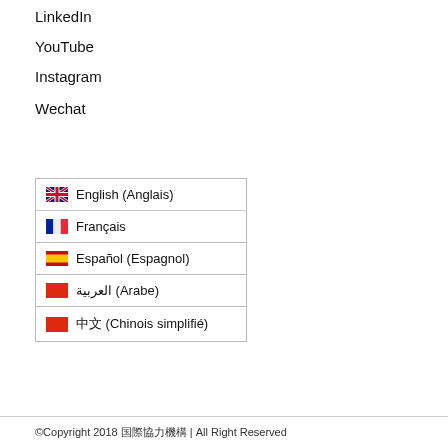LinkedIn
YouTube
Instagram
Wechat
🇬🇧 English (Anglais)
🇫🇷 Français
🇪🇸 Español (Espagnol)
🇨🇳 العربية (Arabe)
🇨🇳 中文 (Chinois simplifié)
©Copyright 2018 国際協力機構 | All Right Reserved